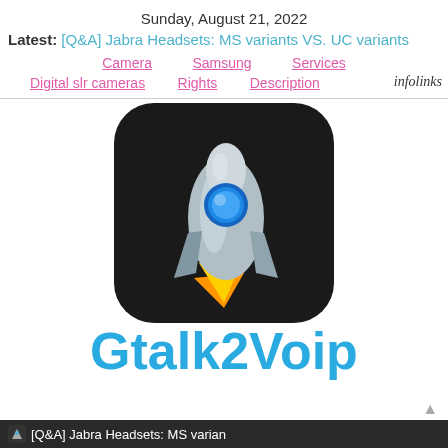Sunday, August 21, 2022
Latest: [Q&A] Jabra Headsets: MS variants VS. UC variants
Camera   Samsung   Services
Digital slr cameras   Rights   Description   infolinks
[Figure (logo): Rocket ship app icon on dark rounded square background — Gtalk2Voip logo]
Gtalk2Voip
[Q&A] Jabra Headsets: MS varian…